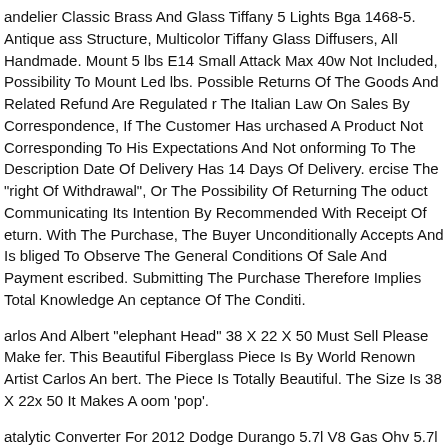andelier Classic Brass And Glass Tiffany 5 Lights Bga 1468-5. Antique ass Structure, Multicolor Tiffany Glass Diffusers, All Handmade. Mount 5 lbs E14 Small Attack Max 40w Not Included, Possibility To Mount Led lbs. Possible Returns Of The Goods And Related Refund Are Regulated The Italian Law On Sales By Correspondence, If The Customer Has urchased A Product Not Corresponding To His Expectations And Not onforming To The Description Date Of Delivery Has 14 Days Of Delivery. ercise The "right Of Withdrawal", Or The Possibility Of Returning The oduct Communicating Its Intention By Recommended With Receipt Of eturn. With The Purchase, The Buyer Unconditionally Accepts And Is bliged To Observe The General Conditions Of Sale And Payment escribed. Submitting The Purchase Therefore Implies Total Knowledge An ceptance Of The Conditi.
arlos And Albert "elephant Head" 38 X 22 X 50 Must Sell Please Make fer. This Beautiful Fiberglass Piece Is By World Renown Artist Carlos An bert. The Piece Is Totally Beautiful. The Size Is 38 X 22x 50 It Makes A oom 'pop'.
atalytic Converter For 2012 Dodge Durango 5.7l V8 Gas Ohv 5.7l V8 Gas hv. Category Exhaust Catalytic Converter Catalytic Converter. Have You xed The Problem That Caused Your Oem Converter To Fail. Catalytic onverters Are Designed To Last The Life Of Your Vehicle They Do Not Fa